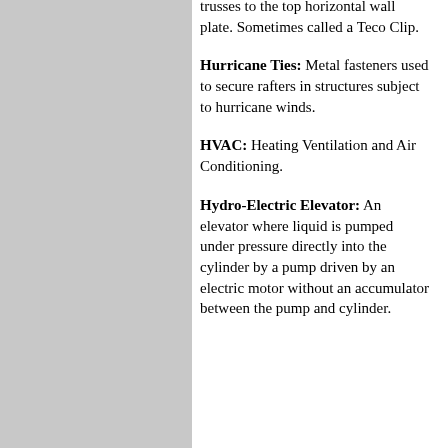trusses to the top horizontal wall plate. Sometimes called a Teco Clip.
Hurricane Ties: Metal fasteners used to secure rafters in structures subject to hurricane winds.
HVAC: Heating Ventilation and Air Conditioning.
Hydro-Electric Elevator: An elevator where liquid is pumped under pressure directly into the cylinder by a pump driven by an electric motor without an accumulator between the pump and cylinder.